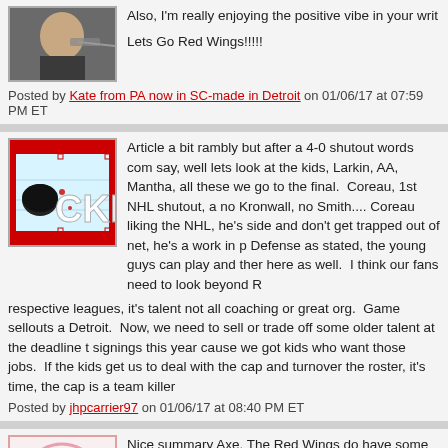[Figure (photo): Avatar photo of a person holding an instrument, top-left of first comment block]
Also, I'm really enjoying the positive vibe in your writ
Lets Go Red Wings!!!!!
Posted by Kate from PA now in SC-made in Detroit on 01/06/17 at 07:59 PM ET
[Figure (logo): Hockey puck logo with CK letters on ice rink background with red border]
Article a bit rambly but after a 4-0 shutout words com say, well lets look at the kids, Larkin, AA, Mantha, all these we go to the final. Coreau, 1st NHL shutout, a no Kronwall, no Smith.... Coreau liking the NHL, he's side and don't get trapped out of net, he's a work in p Defense as stated, the young guys can play and then here as well. I think our fans need to look beyond R respective leagues, it's talent not all coaching or great org. Game sellouts a Detroit. Now, we need to sell or trade off some older talent at the deadline t signings this year cause we got kids who want those jobs. If the kids get us to deal with the cap and turnover the roster, it's time, the cap is a team killer
Posted by jhpcarrier97 on 01/06/17 at 08:40 PM ET
[Figure (illustration): Owl avatar with big eyes on pink/white background]
Nice summary Axe. The Red Wings do have some go
This season is probably lost anyway. 🙂